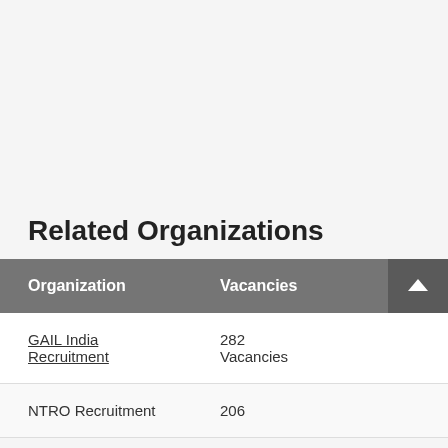Related Organizations
| Organization | Vacancies |
| --- | --- |
| GAIL India Recruitment | 282 Vacancies |
| NTRO Recruitment | 206 |